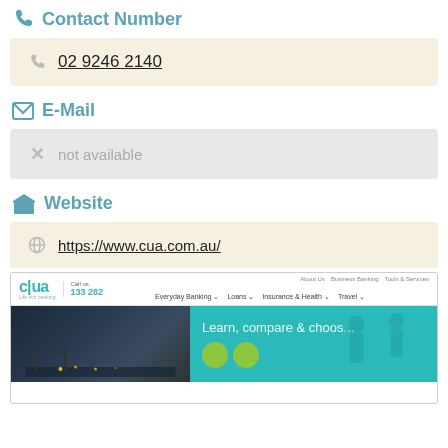Contact Number
02 9246 2140
E-Mail
not available
Website
https://www.cua.com.au/
[Figure (screenshot): Screenshot of the CUA (Credit Union Australia) website homepage showing the cua logo, navigation bar with links including Everyday Banking, Loans, Insurance & Health, Travel, and a teal hero image with text 'Learn, compare & choose' and green circular icons.]